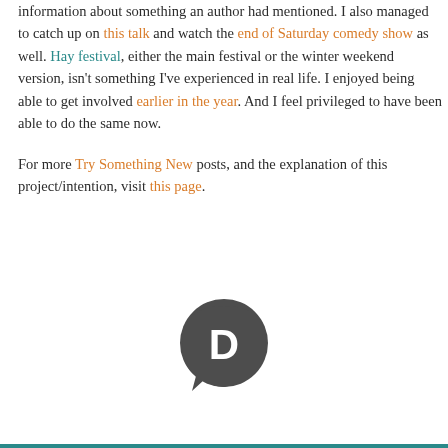information about something an author had mentioned. I also managed to catch up on this talk and watch the end of Saturday comedy show as well. Hay festival, either the main festival or the winter weekend version, isn't something I've experienced in real life. I enjoyed being able to get involved earlier in the year. And I feel privileged to have been able to do the same now.
For more Try Something New posts, and the explanation of this project/intention, visit this page.
[Figure (logo): Disqus logo — a dark grey speech bubble with a 'D' letter inside]